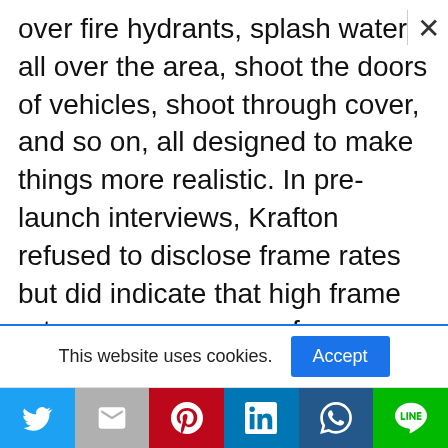over fire hydrants, splash water all over the area, shoot the doors of vehicles, shoot through cover, and so on, all designed to make things more realistic. In pre-launch interviews, Krafton refused to disclose frame rates but did indicate that high frame rates were necessary for a smooth game, thus we'd anticipate it to run at 120Hz or even 144Hz for the few devices that allow it. Around the game, there's a lot of conversation regarding
This website uses cookies.
Accept